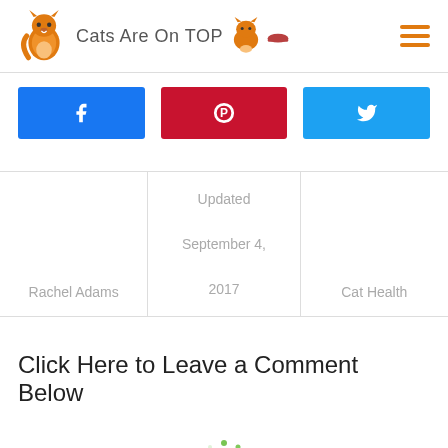Cats Are On TOP
[Figure (infographic): Three social share buttons: Facebook (blue), Pinterest (red), Twitter (light blue), each with icon]
| Rachel Adams | Updated

September 4,

2017 | Cat Health |
Click Here to Leave a Comment Below
[Figure (other): Green loading spinner dots arranged in a circle]